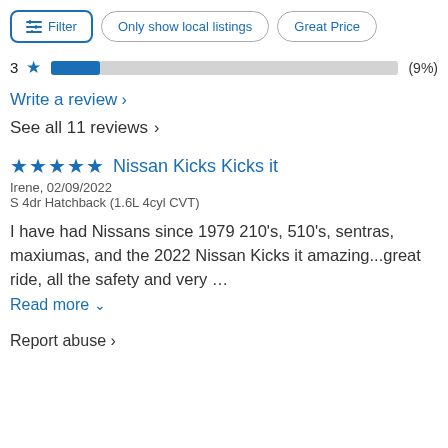Filter | Only show local listings | Great Price
3 ★ (9%)
Write a review >
See all 11 reviews >
★★★★★ Nissan Kicks Kicks it
Irene, 02/09/2022
S 4dr Hatchback (1.6L 4cyl CVT)
I have had Nissans since 1979 210's, 510's, sentras, maxiumas, and the 2022 Nissan Kicks it amazing...great ride, all the safety and very …
Read more ∨
Report abuse >